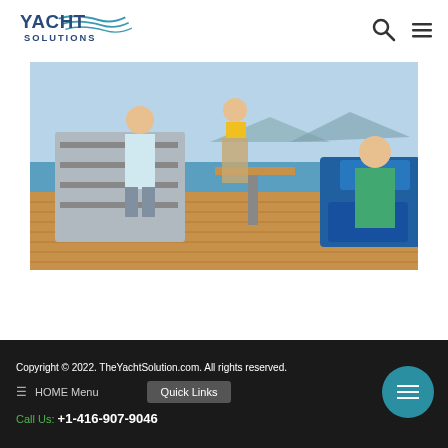[Figure (logo): Yacht Solutions logo with text and wave graphic]
[Figure (photo): People on yacht deck — man and woman standing near a bar/kitchen area, woman in yellow bikini on right, another woman in green sitting on blue cushioned seating, teak wood deck, ocean and mountains in background]
Copyright © 2022. TheYachtSolution.com. All rights reserved.
HOME Menu
Call Us: +1-416-907-9046